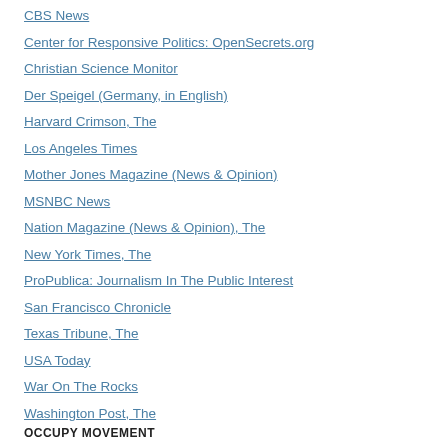CBS News
Center for Responsive Politics: OpenSecrets.org
Christian Science Monitor
Der Speigel (Germany, in English)
Harvard Crimson, The
Los Angeles Times
Mother Jones Magazine (News & Opinion)
MSNBC News
Nation Magazine (News & Opinion), The
New York Times, The
ProPublica: Journalism In The Public Interest
San Francisco Chronicle
Texas Tribune, The
USA Today
War On The Rocks
Washington Post, The
OCCUPY MOVEMENT